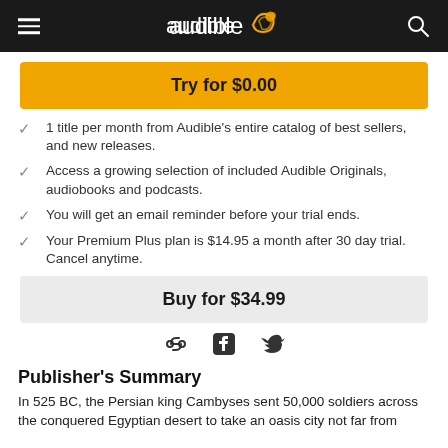audible
Try for $0.00
1 title per month from Audible's entire catalog of best sellers, and new releases.
Access a growing selection of included Audible Originals, audiobooks and podcasts.
You will get an email reminder before your trial ends.
Your Premium Plus plan is $14.95 a month after 30 day trial. Cancel anytime.
Buy for $34.99
Publisher's Summary
In 525 BC, the Persian king Cambyses sent 50,000 soldiers across the conquered Egyptian desert to take an oasis city not far from